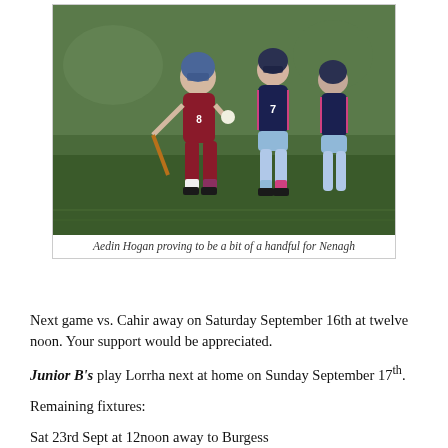[Figure (photo): Two camogie players in action during a match. One player wearing a maroon jersey with number 8 holds a hurley, while two players in navy and blue jerseys with number 7 compete against her on a grass field.]
Aedin Hogan proving to be a bit of a handful for Nenagh
Next game vs. Cahir away on Saturday September 16th at twelve noon. Your support would be appreciated.
Junior B's play Lorrha next at home on Sunday September 17th.
Remaining fixtures:
Sat 23rd Sept at 12noon away to Burgess
Sat 30th Sept at 12noon at home to Silvermines